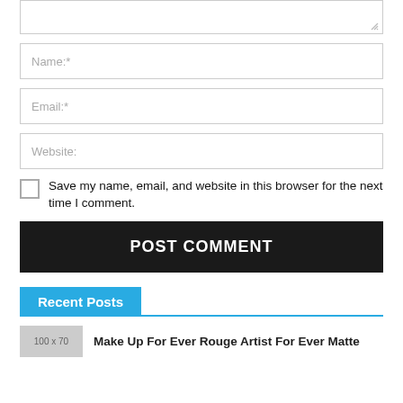[Figure (screenshot): Partial textarea (top portion visible) with resize handle in bottom-right corner]
Name:*
Email:*
Website:
Save my name, email, and website in this browser for the next time I comment.
POST COMMENT
Recent Posts
Make Up For Ever Rouge Artist For Ever Matte